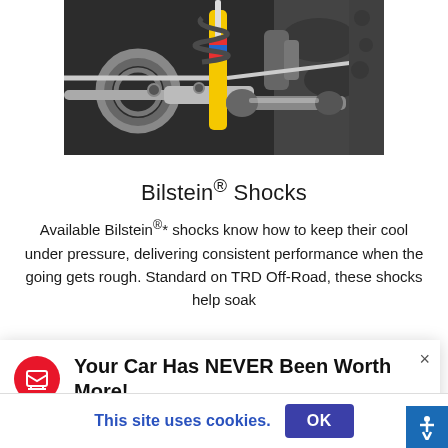[Figure (photo): Close-up photo of a vehicle's undercarriage showing Bilstein shock absorbers (yellow), suspension components, coil springs, CV axle, and other mechanical parts against a dark background.]
Bilstein® Shocks
Available Bilstein®* shocks know how to keep their cool under pressure, delivering consistent performance when the going gets rough. Standard on TRD Off-Road, these shocks help soak
Your Car Has NEVER Been Worth More!
Sell or Trade Your Car Today.
This site uses cookies.